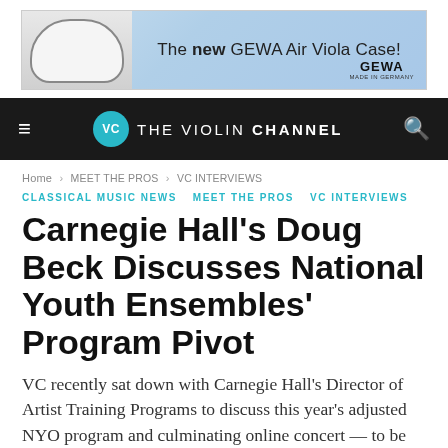[Figure (illustration): GEWA Air Viola Case advertisement banner with light blue gradient background, viola case image on left, text 'The new GEWA Air Viola Case!' in center, GEWA logo bottom right]
[Figure (logo): The Violin Channel navigation bar with dark background, hamburger menu icon, VC circular teal logo, 'THE VIOLIN CHANNEL' text, and search icon]
Home > MEET THE PROS > VC INTERVIEWS
CLASSICAL MUSIC NEWS   MEET THE PROS   VC INTERVIEWS
Carnegie Hall's Doug Beck Discusses National Youth Ensembles' Program Pivot
VC recently sat down with Carnegie Hall's Director of Artist Training Programs to discuss this year's adjusted NYO program and culminating online concert — to be